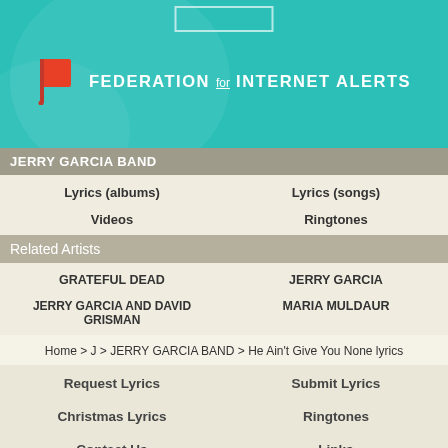[Figure (logo): Federation for Internet Alerts banner with teal background, red flag icon, and white bold text]
JERRY GARCIA BAND
| Lyrics (albums) | Lyrics (songs) |
| Videos | Ringtones |
Related Artists
| GRATEFUL DEAD | JERRY GARCIA |
| JERRY GARCIA AND DAVID GRISMAN | MARIA MULDAUR |
Home > J > JERRY GARCIA BAND > He Ain't Give You None lyrics
| Request Lyrics | Submit Lyrics |
| Christmas Lyrics | Ringtones |
| Contact Us | Links |